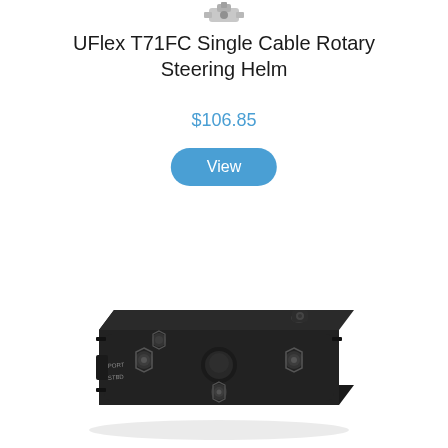[Figure (photo): Small partial product icon at top of page]
UFlex T71FC Single Cable Rotary Steering Helm
$106.85
View
[Figure (photo): Photo of UFlex T71FC Single Cable Rotary Steering Helm - a black rectangular mechanical steering component with cable ports labeled PORT and STBD, viewed from a slight angle showing the top and front face]